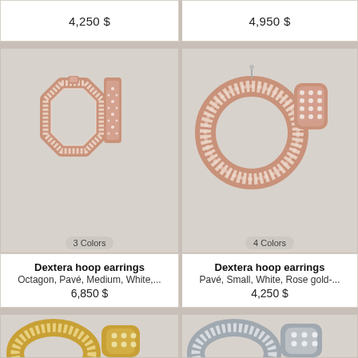4,250 $
4,950 $
[Figure (photo): Dextera hoop earrings, octagon shape, pavé diamonds, rose gold tone - two views]
[Figure (photo): Dextera hoop earrings, round pavé, small, rose gold tone - two views]
3 Colors
Dextera hoop earrings
Octagon, Pavé, Medium, White,...
6,850 $
4 Colors
Dextera hoop earrings
Pavé, Small, White, Rose gold-...
4,250 $
[Figure (photo): Dextera hoop earrings, yellow gold tone, pavé - two views (partially visible)]
[Figure (photo): Dextera hoop earrings, white/silver pavé (partially visible)]